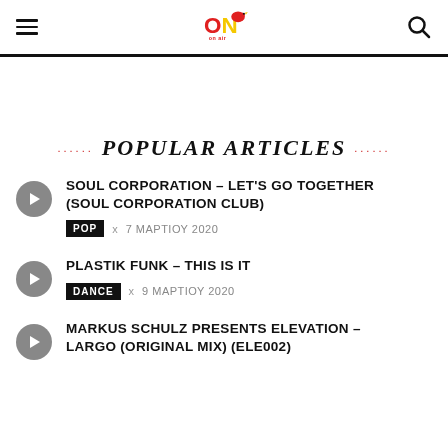ON Air FM - menu, logo, search
POPULAR ARTICLES
SOUL CORPORATION – LET'S GO TOGETHER (SOUL CORPORATION CLUB) | POP | 7 ΜΑΡΤΙΟΥ 2020
PLASTIK FUNK – THIS IS IT | DANCE | 9 ΜΑΡΤΙΟΥ 2020
MARKUS SCHULZ PRESENTS ELEVATION – LARGO (ORIGINAL MIX) (ELE002)